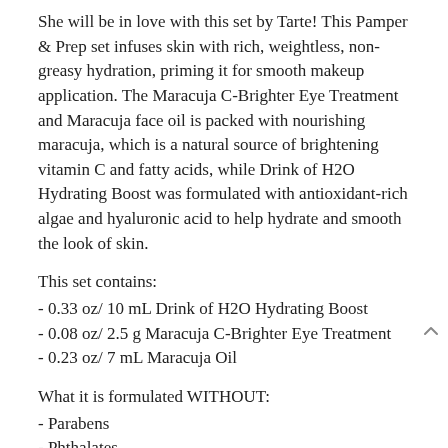She will be in love with this set by Tarte! This Pamper & Prep set infuses skin with rich, weightless, non-greasy hydration, priming it for smooth makeup application. The Maracuja C-Brighter Eye Treatment and Maracuja face oil is packed with nourishing maracuja, which is a natural source of brightening vitamin C and fatty acids, while Drink of H2O Hydrating Boost was formulated with antioxidant-rich algae and hyaluronic acid to help hydrate and smooth the look of skin.
This set contains:
- 0.33 oz/ 10 mL Drink of H2O Hydrating Boost
- 0.08 oz/ 2.5 g Maracuja C-Brighter Eye Treatment
- 0.23 oz/ 7 mL Maracuja Oil
What it is formulated WITHOUT:
- Parabens
- Phthalates
Price: $15.00